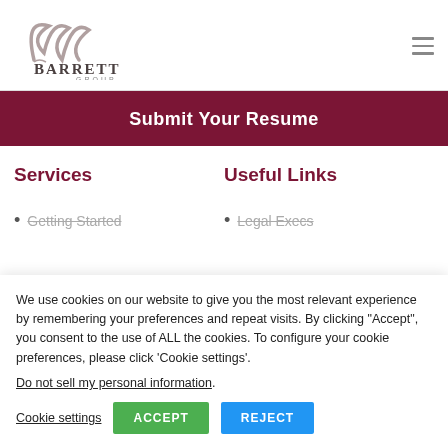[Figure (logo): Barrett Group logo with stylized script monogram and text 'Barrett Group']
Submit Your Resume
Services
Useful Links
Getting Started
Legal Execs
We use cookies on our website to give you the most relevant experience by remembering your preferences and repeat visits. By clicking “Accept”, you consent to the use of ALL the cookies. To configure your cookie preferences, please click ‘Cookie settings’.
Do not sell my personal information.
Cookie settings   ACCEPT   REJECT